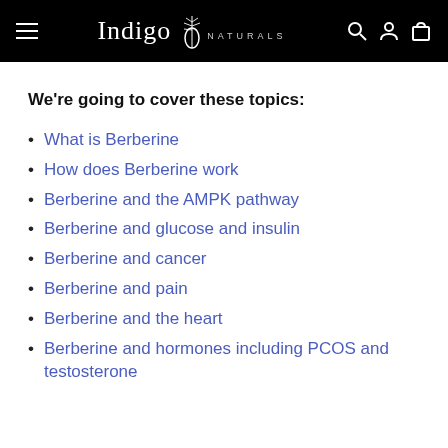Indigo Naturals
We're going to cover these topics:
What is Berberine
How does Berberine work
Berberine and the AMPK pathway
Berberine and glucose and insulin
Berberine and cancer
Berberine and pain
Berberine and the heart
Berberine and hormones including PCOS and testosterone